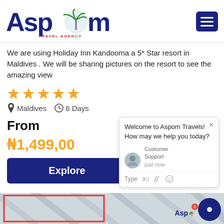[Figure (logo): Aspom Travel Agency logo with palm tree graphic and blue text]
We are using Holiday Inn Kandooma a 5* Star resort in Maldives . We will be sharing pictures on the resort to see the amazing view
[Figure (other): 5 orange star rating icons]
Maldives  6 Days
From
₦1,499,00
Explore
Welcome to Aspom Travels! How may we help you today?
Customer Support   just now
Type
[Figure (photo): Bottom strip showing partial resort/ocean image with red border frame and Aspom chat widget]